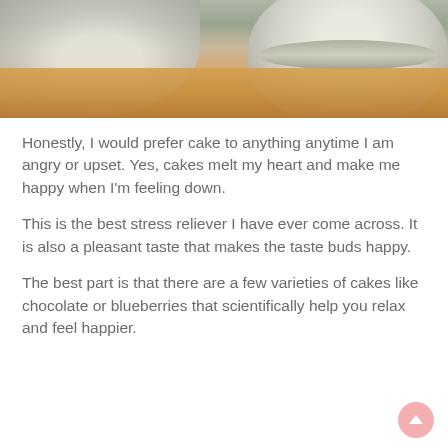[Figure (photo): Top portion of a food photo showing plates and a bowl on a wooden surface, cropped at top of page]
Honestly, I would prefer cake to anything anytime I am angry or upset. Yes, cakes melt my heart and make me happy when I'm feeling down.
This is the best stress reliever I have ever come across. It is also a pleasant taste that makes the taste buds happy.
The best part is that there are a few varieties of cakes like chocolate or blueberries that scientifically help you relax and feel happier.